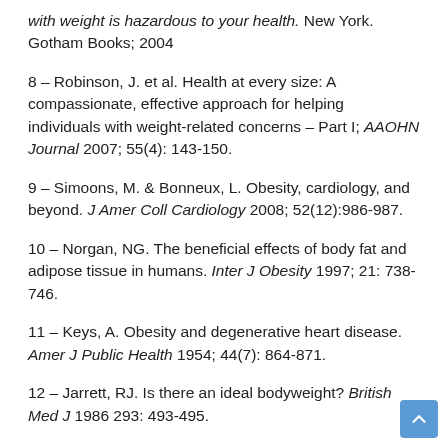with weight is hazardous to your health. New York. Gotham Books; 2004
8 – Robinson, J. et al. Health at every size: A compassionate, effective approach for helping individuals with weight-related concerns – Part I; AAOHN Journal 2007; 55(4): 143-150.
9 – Simoons, M. & Bonneux, L. Obesity, cardiology, and beyond. J Amer Coll Cardiology 2008; 52(12):986-987.
10 – Norgan, NG. The beneficial effects of body fat and adipose tissue in humans. Inter J Obesity 1997; 21: 738-746.
11 – Keys, A. Obesity and degenerative heart disease. Amer J Public Health 1954; 44(7): 864-871.
12 – Jarrett, RJ. Is there an ideal bodyweight? British Med J 1986 293: 493-495.